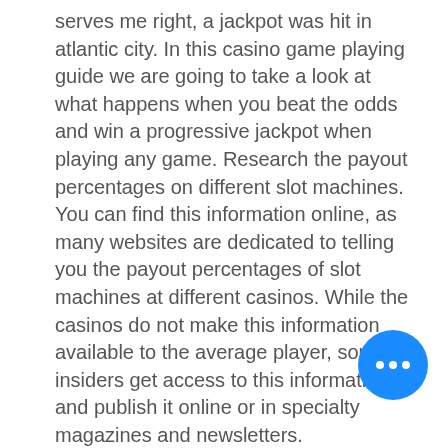serves me right, a jackpot was hit in atlantic city. In this casino game playing guide we are going to take a look at what happens when you beat the odds and win a progressive jackpot when playing any game. Research the payout percentages on different slot machines. You can find this information online, as many websites are dedicated to telling you the payout percentages of slot machines at different casinos. While the casinos do not make this information available to the average player, some insiders get access to this information and publish it online or in specialty magazines and newsletters. Percentages can run anywhere from 80%-98%. A payout percentage refers to how much of the money spent on the machine is returned to customers. Choose machines with higher payout percentages to increase your chances. Pick machines with the smallest jackpots. Once a lucky player hits the magical spin or
[Figure (other): Blue circular button with three white dots (ellipsis/more options button)]